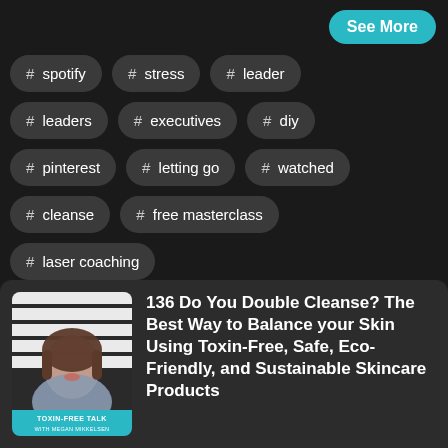# spotify
# stress
# leader
# leaders
# executives
# diy
# pinterest
# letting go
# watched
# cleanse
# free masterclass
# laser coaching
See More
[Figure (photo): Podcast thumbnail showing a woman smiling with brown hair, black and white striped background, with 'TOXIN-FREE TALK WITH MEGAN MIKKELSEN' label at bottom in teal]
136 Do You Double Cleanse? The Best Way to Balance your Skin Using Toxin-Free, Safe, Eco-Friendly, and Sustainable Skincare Products